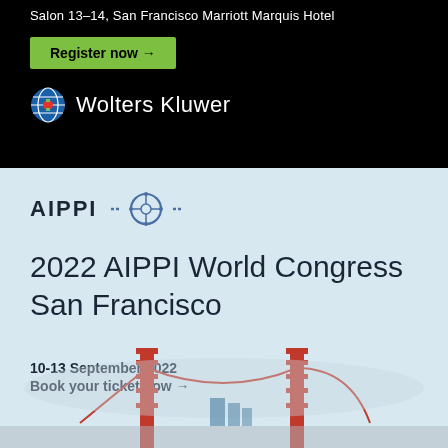Salon 13-14, San Francisco Marriott Marquis Hotel
Register now →
[Figure (logo): Wolters Kluwer logo with globe icon and white text on black background]
[Figure (logo): AIPPI logo with circular network icon on light blue background]
2022 AIPPI World Congress San Francisco
10-13 September 2022
Book your ticket now →
[Figure (photo): Golden Gate Bridge towers emerging from fog, light blue sky background]